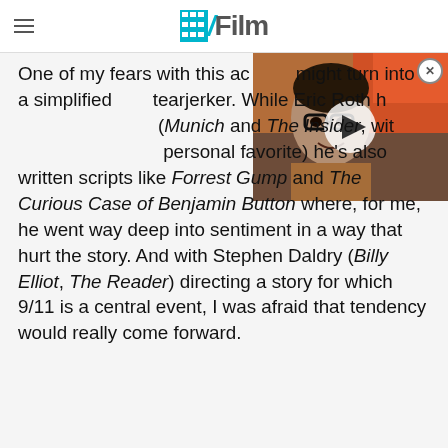/Film
[Figure (screenshot): Video thumbnail showing a man with glasses, with a play button overlay. A close button (X) appears at the top right.]
One of my fears with this ac might turn into a simplified tearjerker. While Eric Roth h (Munich and The Insider, with the latter being a personal favorite) he's also written scripts like Forrest Gump and The Curious Case of Benjamin Button where, for me, he went way deep into sentiment in a way that hurt the story. And with Stephen Daldry (Billy Elliot, The Reader) directing a story for which 9/11 is a central event, I was afraid that tendency would really come forward.